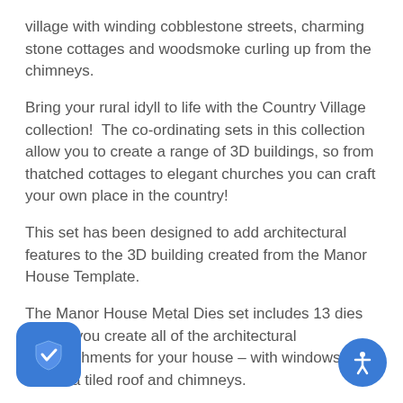village with winding cobblestone streets, charming stone cottages and woodsmoke curling up from the chimneys.
Bring your rural idyll to life with the Country Village collection!  The co-ordinating sets in this collection allow you to create a range of 3D buildings, so from thatched cottages to elegant churches you can craft your own place in the country!
This set has been designed to add architectural features to the 3D building created from the Manor House Template.
The Manor House Metal Dies set includes 13 dies to help you create all of the architectural embellishments for your house – with windows, doors, a tiled roof and chimneys.
All you need is a die-cutting machine, a die and your chosen cardstock. Simply create your plate combination using the helpful Sandwich Guide in the instruction